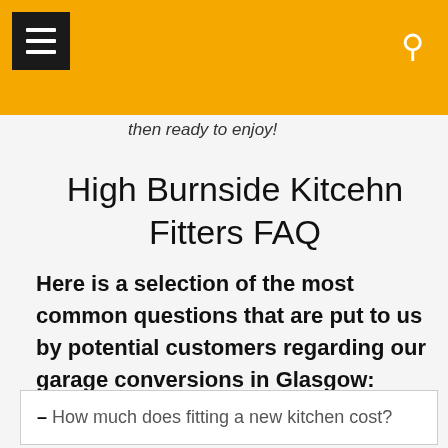then ready to enjoy!
High Burnside Kitcehn Fitters FAQ
Here is a selection of the most common questions that are put to us by potential customers regarding our garage conversions in Glasgow:
– How much does fitting a new kitchen cost?